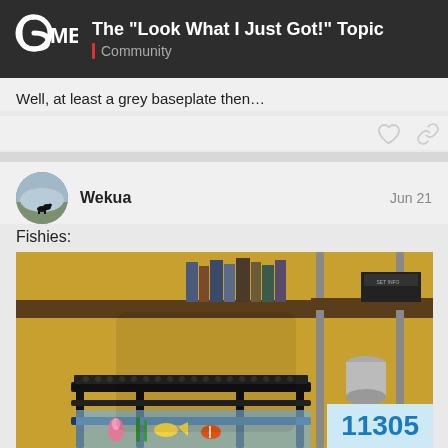The “Look What I Just Got!” Topic | Community
Well, at least a grey baseplate then…
Wekua  Jun 21
Fishies:
[Figure (photo): Photo of a LEGO aquarium/fish tank set displayed on a shelf with books and metal pipe shelving in the background. Yellow/ochre wall visible. A silver bucket and LEGO fish/coral pieces visible inside a black LEGO frame structure.]
11305